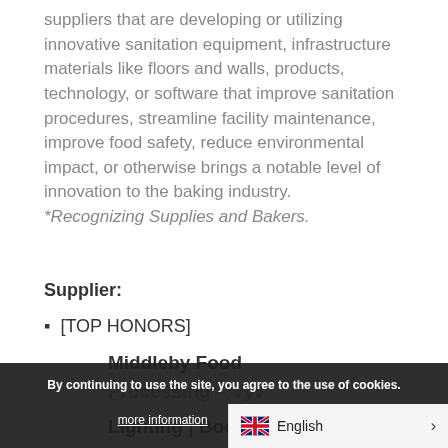suppliers that are developing or utilizing innovative sanitation equipment, infrastructure materials like floors and walls, products, technology, or software that improve sanitation procedures, streamline facility maintenance, improve food safety, reduce environmental impact, or otherwise brings a notable level of innovation to the baking industry.
*Recognizing Supplies and Bakers.
Supplier:
[TOP HONORS]
Middleby Food Processing – Vyv Sustainable Lighting | Booth 2017–5101